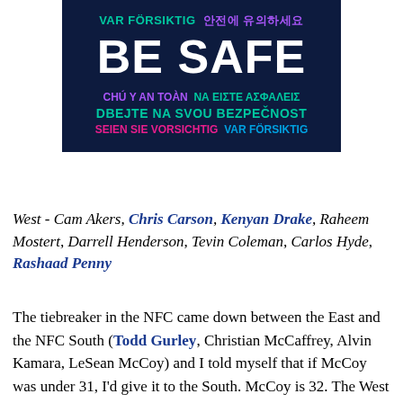[Figure (infographic): Dark navy blue box with multilingual 'BE SAFE' safety message. Top line: 'VAR FÖRSIKTIG' in teal and '안전에 유의하세요' in purple. Large white bold text 'BE SAFE'. Below: 'CHÚ Y AN TOÀN' in purple, 'ΝΑ ΕΙΣΤΕ ΑΣΦΑΛΕΙΣ' in teal, 'DBEJTE NA SVOU BEZPEČNOST' in green, 'SEIEN SIE VORSICHTIG' in pink, 'VAR FÖRSIKTIG' in blue.]
West - Cam Akers, Chris Carson, Kenyan Drake, Raheem Mostert, Darrell Henderson, Tevin Coleman, Carlos Hyde, Rashaad Penny
The tiebreaker in the NFC came down between the East and the NFC South (Todd Gurley, Christian McCaffrey, Alvin Kamara, LeSean McCoy) and I told myself that if McCoy was under 31, I'd give it to the South. McCoy is 32. The West won't be too far off